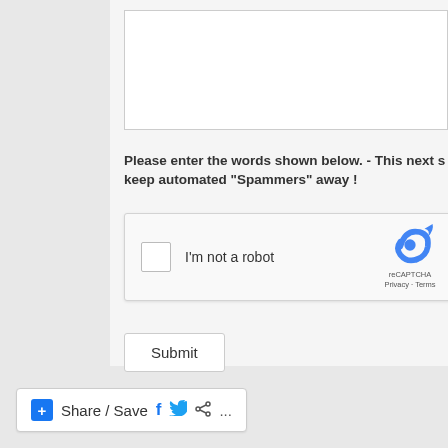Please enter the words shown below. - This next step will keep automated "Spammers" away !
[Figure (other): reCAPTCHA widget with checkbox labeled 'I'm not a robot' and Google reCAPTCHA logo with Privacy and Terms links]
Submit
Share / Save ...